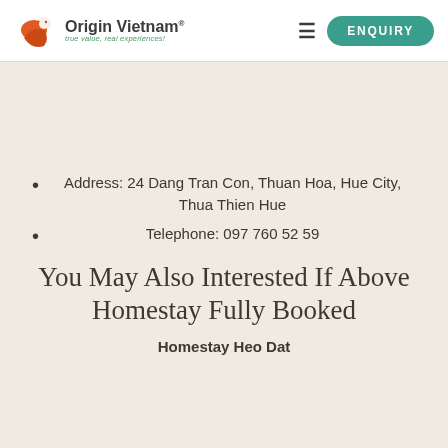[Figure (logo): Origin Vietnam logo with orange bird/shield icon, bold text 'Origin Vietnam®', and green italic tagline 'true value, real experiences!']
[Figure (other): Hamburger menu icon (≡) and green pill-shaped ENQUIRY button in the page header]
Address: 24 Dang Tran Con, Thuan Hoa, Hue City, Thua Thien Hue
Telephone: 097 760 52 59
You May Also Interested If Above Homestay Fully Booked
Homestay Heo Dat